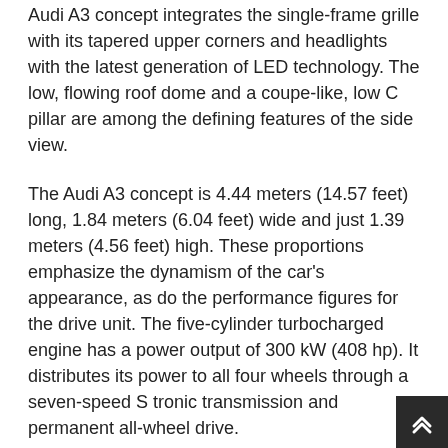Audi A3 concept integrates the single-frame grille with its tapered upper corners and headlights with the latest generation of LED technology. The low, flowing roof dome and a coupe-like, low C pillar are among the defining features of the side view.
The Audi A3 concept is 4.44 meters (14.57 feet) long, 1.84 meters (6.04 feet) wide and just 1.39 meters (4.56 feet) high. These proportions emphasize the dynamism of the car's appearance, as do the performance figures for the drive unit. The five-cylinder turbocharged engine has a power output of 300 kW (408 hp). It distributes its power to all four wheels through a seven-speed S tronic transmission and permanent all-wheel drive.
Audi India has also launched the A7 Sportback and the RS5 in India. Audi will be launching the A6 by mid 2011 and also will get the new Q3 in India by 2012.